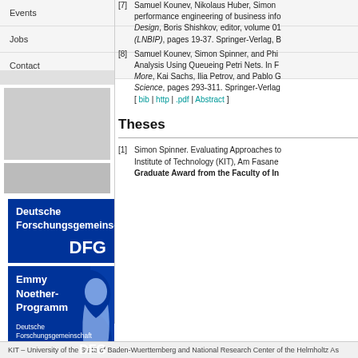Events
Jobs
Contact
[Figure (logo): Deutsche Forschungsgemeinschaft DFG logo — blue rectangle with white text]
[Figure (logo): Emmy Noether-Programm Deutsche Forschungsgemeinschaft DFG logo — blue rectangle with white text and silhouette portrait]
[7] Samuel Kounev, Nikolaus Huber, Simon ... performance engineering of business info... Design, Boris Shishkov, editor, volume 01... (LNBIP), pages 19-37. Springer-Verlag, B...
[8] Samuel Kounev, Simon Spinner, and Phi... Analysis Using Queueing Petri Nets. In F... More, Kai Sachs, Ilia Petrov, and Pablo G... Science, pages 293-311. Springer-Verlag... [ bib | http | .pdf | Abstract ]
Theses
[1] Simon Spinner. Evaluating Approaches to... Institute of Technology (KIT), Am Fasane... Graduate Award from the Faculty of In...
KIT – University of the State of Baden-Wuerttemberg and National Research Center of the Helmholtz As...